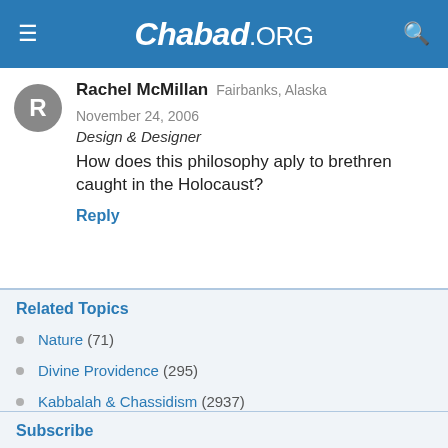Chabad.ORG
Rachel McMillan  Fairbanks, Alaska  November 24, 2006
Design & Designer
How does this philosophy aply to brethren caught in the Holocaust?
Reply
Related Topics
Nature (71)
Divine Providence (295)
Kabbalah & Chassidism (2937)
Subscribe